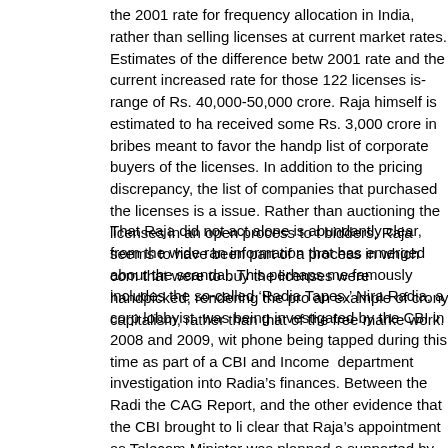the 2001 rate for frequency allocation in India, rather than selling licenses at current market rates. Estimates of the difference between the 2001 rate and the current increased rate for those 122 licenses is in the range of Rs. 40,000-50,000 crore. Raja himself is estimated to have received some Rs. 3,000 crore in bribes meant to favor the handpicked list of corporate buyers of the licenses. In addition to the pricing discrepancy, the list of companies that purchased the licenses is also an issue. Rather than auctioning the licenses in an open process to the highest bidders, Raja seems to have been part of a process in which companies that were to buy the licenses were handpicked, rendering the process an example of crony capitalism, rather than that of the free market at work.
That Raja did not act alone is abundantly clear, from the wide range of information that has emerged about the scandal. This perhaps most famously includes the so-called ‘Radia Tapes.’ Nira Radia, a corporate lobbyist, was being investigated by the CBI in 2008 and 2009, with her phone being tapped during this time as part of a CBI and Income Tax department investigation into Radia's finances. Between the Radia Tapes, the CAG Report, and the other evidence that the CBI brought to light, it is clear that Raja's appointment as Telecom Minister was planned and supported by Radia, the daughter of DMK leader M. Karunanidhi and others well in advance. Those who supported Raja's appointment as Minister benefitted politically and financially from the 2G Spectrum